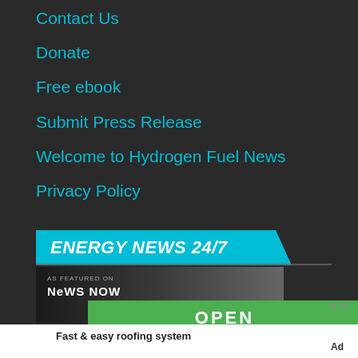Contact Us
Donate
Free ebook
Submit Press Release
Welcome to Hydrogen Fuel News
Privacy Policy
[Figure (logo): ENERGY NEWS 24/7 banner with cyan background and diagonal cut]
[Figure (screenshot): Advertisement showing 'AS FEATURED ON NEWS NOW' with a green OPEN button and text 'Fast & easy roofing system']
Fast & easy roofing system
Ad